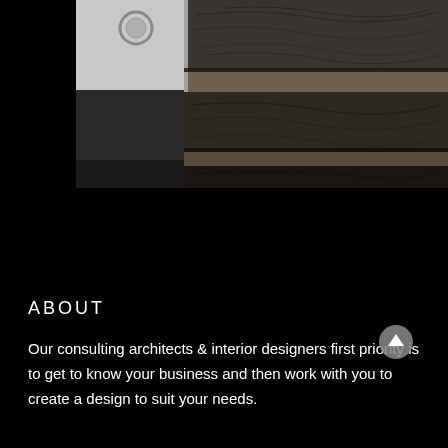[Figure (photo): Black and white photograph of wooden staircase steps with visible wood grain texture, and a white wall on the left with a circular door handle/knob]
ABOUT
Our consulting architects & interior designers first priority is to get to know your business and then work with you to create a design to suit your needs.